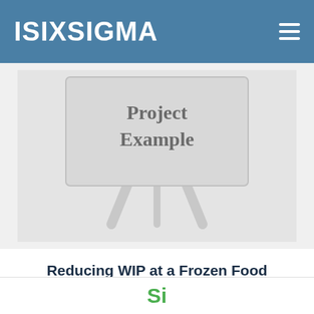ISIXSIGMA
[Figure (illustration): Product thumbnail showing a presentation easel/board with 'Project Example' text on a light gray background]
Reducing WIP at a Frozen Food Manufacturer Project Example
$24.95
Add to cart
Si